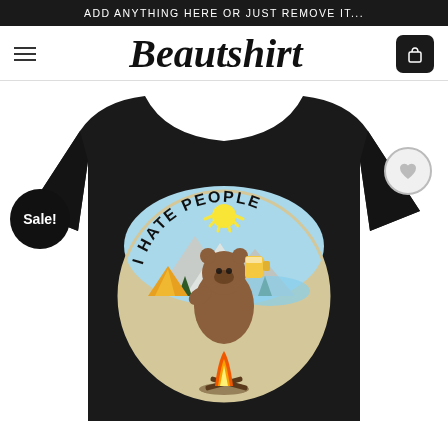ADD ANYTHING HERE OR JUST REMOVE IT...
[Figure (logo): Beautshirt store logo in cursive script]
[Figure (photo): Black t-shirt with 'I Hate People' camping bear graphic — a bear holding a beer mug sitting by a campfire with mountains and tent in a circular vintage illustration]
Sale!